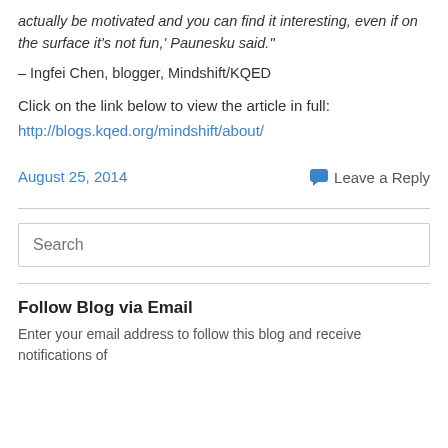actually be motivated and you can find it interesting, even if on the surface it's not fun,' Paunesku said."
– Ingfei Chen, blogger, Mindshift/KQED
Click on the link below to view the article in full:
http://blogs.kqed.org/mindshift/about/
August 25, 2014
Leave a Reply
Search
Follow Blog via Email
Enter your email address to follow this blog and receive notifications of